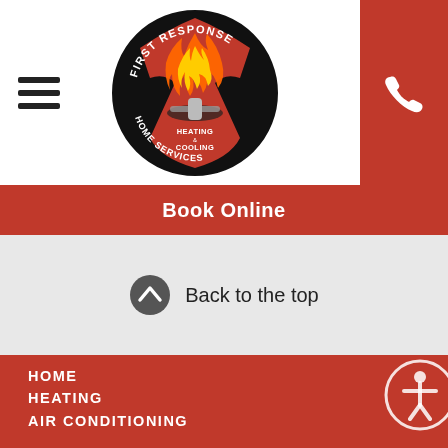[Figure (logo): First Response Heating & Cooling Home Services circular logo with flame and wrench design]
Book Online
Back to the top
HOME
HEATING
AIR CONDITIONING
MORE SERVICES
FINANCING
ABOUT US